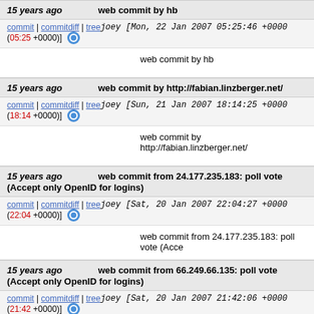15 years ago   web commit by hb
commit | commitdiff | tree joey [Mon, 22 Jan 2007 05:25:46 +0000 (05:25 +0000)]
web commit by hb
15 years ago   web commit by http://fabian.linzberger.net/
commit | commitdiff | tree joey [Sun, 21 Jan 2007 18:14:25 +0000 (18:14 +0000)]
web commit by http://fabian.linzberger.net/
15 years ago   web commit from 24.177.235.183: poll vote (Accept only OpenID for logins)
commit | commitdiff | tree joey [Sat, 20 Jan 2007 22:04:27 +0000 (22:04 +0000)]
web commit from 24.177.235.183: poll vote (Acce...
15 years ago   web commit from 66.249.66.135: poll vote (Accept only OpenID for logins)
commit | commitdiff | tree joey [Sat, 20 Jan 2007 21:42:06 +0000 (21:42 +0000)]